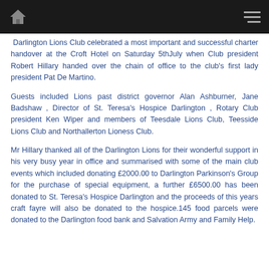[navigation bar with home icon and menu]
Darlington Lions Club celebrated a most important and successful charter handover at the Croft Hotel on Saturday 5thJuly when Club president Robert Hillary handed over the chain of office to the club's first lady president Pat De Martino.
Guests included Lions past district governor Alan Ashburner, Jane Badshaw , Director of St. Teresa's Hospice Darlington , Rotary Club president Ken Wiper and members of Teesdale Lions Club, Teesside Lions Club and Northallerton Lioness Club.
Mr Hillary thanked all of the Darlington Lions for their wonderful support in his very busy year in office and summarised with some of the main club events which included donating £2000.00 to Darlington Parkinson's Group for the purchase of special equipment, a further £6500.00 has been donated to St. Teresa's Hospice Darlington and the proceeds of this years craft fayre will also be donated to the hospice.145 food parcels were donated to the Darlington food bank and Salvation Army and Family Help.